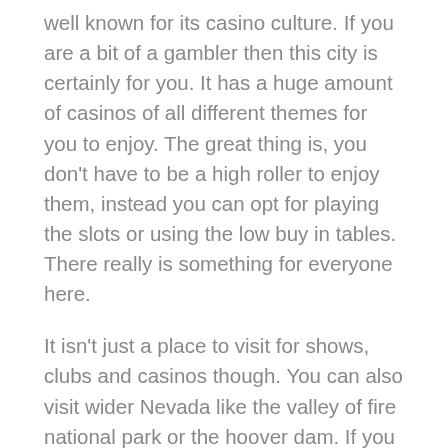well known for its casino culture. If you are a bit of a gambler then this city is certainly for you. It has a huge amount of casinos of all different themes for you to enjoy. The great thing is, you don't have to be a high roller to enjoy them, instead you can opt for playing the slots or using the low buy in tables. There really is something for everyone here.
It isn't just a place to visit for shows, clubs and casinos though. You can also visit wider Nevada like the valley of fire national park or the hoover dam. If you wanted to stay in Vegas itself, don't worry. There are countless museums for you to check out and the city has a rich criminal history based around the mob. The city caters to all tastes, you can even bring your family along. Just be sure you plan what you are doing before you